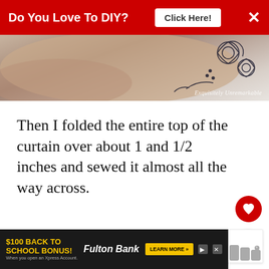[Figure (screenshot): Red advertisement banner at top reading 'Do You Love To DIY?' with 'Click Here!' button and X close button on white background]
[Figure (photo): Close-up photo of skin with floral tattoo design in black ink, with watermark 'Exquisitely Unremarkable' in bottom right]
Then I folded the entire top of the curtain over about 1 and 1/2 inches and sewed it almost all the way across.
I stopped my stitches about 2 inches from both sides of the pleats. This allo[wed] them to hang more naturally
[Figure (screenshot): 'What's Next' recommendation widget showing Box Pleat Scrap Fabric... with a cupcake thumbnail image]
[Figure (screenshot): Bottom advertisement banner for Fulton Bank '$100 Back to School Bonus!' with 'Learn More' button]